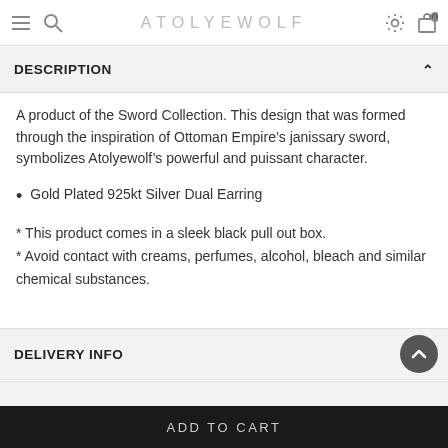ATOLYEWOLF
DESCRIPTION
A product of the Sword Collection. This design that was formed through the inspiration of Ottoman Empire’s janissary sword, symbolizes Atolyewolf’s powerful and puissant character.
Gold Plated 925kt Silver Dual Earring
* This product comes in a sleek black pull out box.
* Avoid contact with creams, perfumes, alcohol, bleach and similar chemical substances.
DELIVERY INFO
ADD TO CART